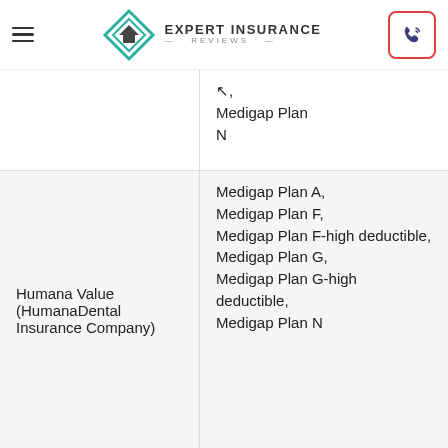Expert Insurance Reviews
Medigap Plan N
Humana Value (HumanaDental Insurance Company)
Medigap Plan A, Medigap Plan F, Medigap Plan F-high deductible, Medigap Plan G, Medigap Plan G-high deductible, Medigap Plan N